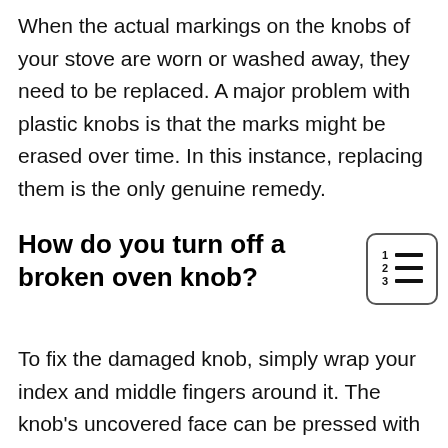When the actual markings on the knobs of your stove are worn or washed away, they need to be replaced. A major problem with plastic knobs is that the marks might be erased over time. In this instance, replacing them is the only genuine remedy.
How do you turn off a broken oven knob?
[Figure (illustration): A small icon showing a numbered list (1, 2, 3) with horizontal lines, inside a rounded rectangle border.]
To fix the damaged knob, simply wrap your index and middle fingers around it. The knob's uncovered face can be pressed with your thumb. Remove the knob from the stovetop. Remove the knob from the stove's protruding peg. The hole on